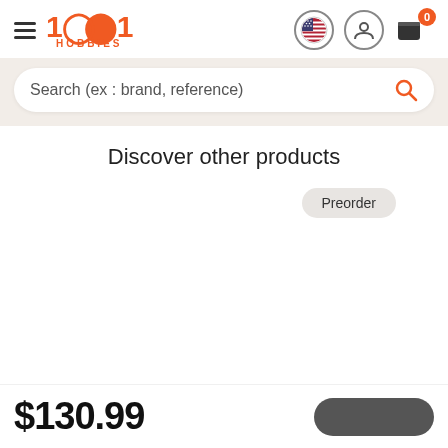[Figure (logo): 1001 Hobbies logo in orange with hamburger menu icon on the left and user/cart icons on the right]
Search (ex : brand, reference)
Discover other products
Preorder
$130.99